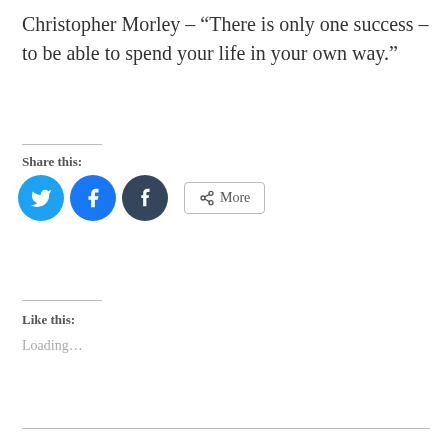Christopher Morley – “There is only one success – to be able to spend your life in your own way.”
Share this:
[Figure (other): Social share buttons: Twitter (blue circle), Facebook (blue circle), Tumblr (dark circle), and a More button with share icon]
Like this:
Loading…